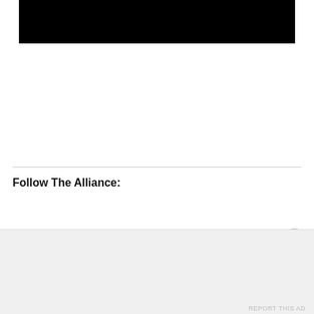[Figure (other): Black rectangular image placeholder at the top of the page]
Follow The Alliance:
[Figure (other): Tweet button (blue, Twitter bird icon) and Post button (dark, Tumblr icon)]
Advertisements
[Figure (logo): P2 logo — dark square with letter P and '2' text]
Getting your team on the same page is easy. And free.
REPORT THIS AD